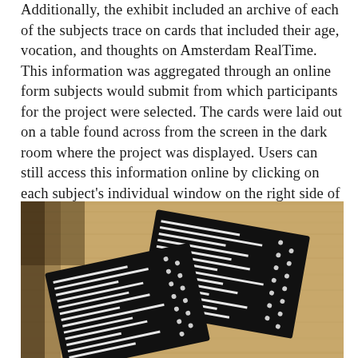Additionally, the exhibit included an archive of each of the subjects trace on cards that included their age, vocation, and thoughts on Amsterdam RealTime. This information was aggregated through an online form subjects would submit from which participants for the project were selected. The cards were laid out on a table found across from the screen in the dark room where the project was displayed. Users can still access this information online by clicking on each subject's individual window on the right side of the map being drawn.4
[Figure (photo): Photograph of two dark rectangular cards (archive trace cards from Amsterdam RealTime project) lying on a wooden table surface. The cards are black with white horizontal lines/text printed on them, resembling data or route traces. One card is in the upper right and another in the lower left of the image.]